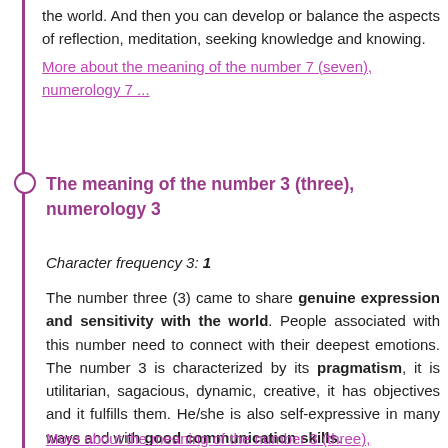the world. And then you can develop or balance the aspects of reflection, meditation, seeking knowledge and knowing.
More about the meaning of the number 7 (seven), numerology 7 ...
The meaning of the number 3 (three), numerology 3
Character frequency 3: 1
The number three (3) came to share genuine expression and sensitivity with the world. People associated with this number need to connect with their deepest emotions. The number 3 is characterized by its pragmatism, it is utilitarian, sagacious, dynamic, creative, it has objectives and it fulfills them. He/she is also self-expressive in many ways and with good communication skills.
More about the meaning of the number 3 (three),